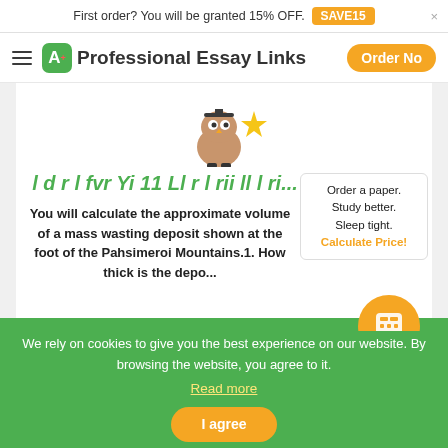First order? You will be granted 15% OFF. SAVE15
Professional Essay Links  Order Now
[Figure (illustration): Mascot owl/character with gold star, academic themed]
l d r l fvr Yi 11 Ll r l rii ll l ri...
You will calculate the approximate volume of a mass wasting deposit shown at the foot of the Pahsimeroi Mountains.1. How thick is the depo...
Order a paper. Study better. Sleep tight. Calculate Price!
We rely on cookies to give you the best experience on our website. By browsing the website, you agree to it. Read more
I agree